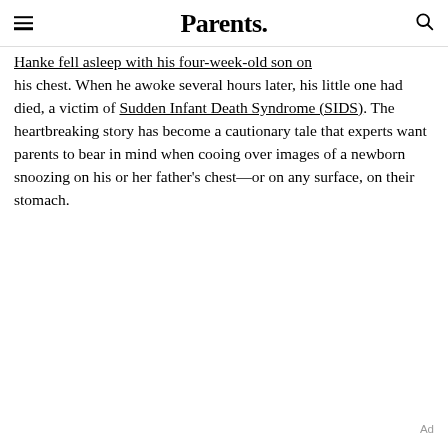Parents.
Hanke fell asleep with his four-week-old son on his chest. When he awoke several hours later, his little one had died, a victim of Sudden Infant Death Syndrome (SIDS). The heartbreaking story has become a cautionary tale that experts want parents to bear in mind when cooing over images of a newborn snoozing on his or her father's chest—or on any surface, on their stomach.
Ad